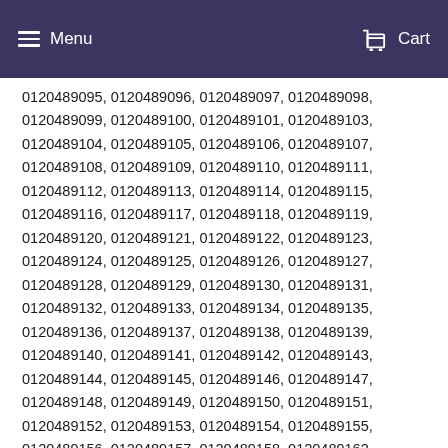Menu  Cart
0120489095, 0120489096, 0120489097, 0120489098, 0120489099, 0120489100, 0120489101, 0120489103, 0120489104, 0120489105, 0120489106, 0120489107, 0120489108, 0120489109, 0120489110, 0120489111, 0120489112, 0120489113, 0120489114, 0120489115, 0120489116, 0120489117, 0120489118, 0120489119, 0120489120, 0120489121, 0120489122, 0120489123, 0120489124, 0120489125, 0120489126, 0120489127, 0120489128, 0120489129, 0120489130, 0120489131, 0120489132, 0120489133, 0120489134, 0120489135, 0120489136, 0120489137, 0120489138, 0120489139, 0120489140, 0120489141, 0120489142, 0120489143, 0120489144, 0120489145, 0120489146, 0120489147, 0120489148, 0120489149, 0120489150, 0120489151, 0120489152, 0120489153, 0120489154, 0120489155, 0120489156, 0120489157, 0120489158, 0120489162, 0120489167, 0120489168, 0120489170, 0120489171, 0120489172, 0120489173, 0120489174, 0120489175, 0120489176, 0120489177, 0120489181, 0120489182, 0120489183, 0120489184, 0120489186, 0120489187, 0120489188, 0120489189, 0120489190, 0120489191, 0120489192, 0120489193, 0120489194, 0120489195,